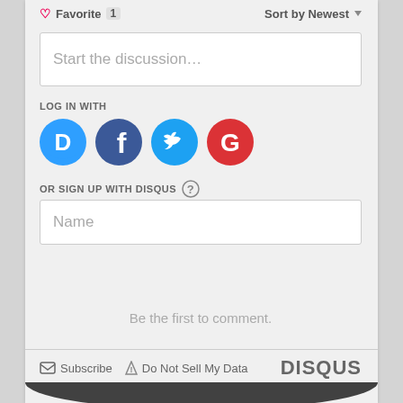Favorite 1   Sort by Newest
Start the discussion…
LOG IN WITH
[Figure (logo): Social login icons: Disqus (blue speech bubble with D), Facebook (dark blue circle with F), Twitter (light blue circle with bird), Google (red circle with G)]
OR SIGN UP WITH DISQUS ?
Name
Be the first to comment.
Subscribe   Do Not Sell My Data   DISQUS